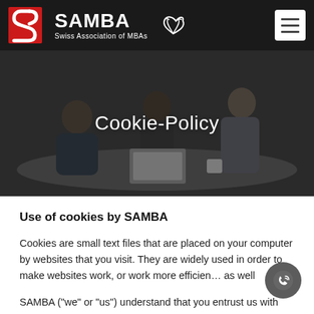SAMBA – Swiss Association of MBAs
[Figure (photo): Hero banner photo of three people collaborating around a table with a laptop, overlaid with dark tint and centered text 'Cookie-Policy']
Cookie-Policy
Use of cookies by SAMBA
Cookies are small text files that are placed on your computer by websites that you visit. They are widely used in order to make websites work, or work more efficiently, as well
SAMBA ("we" or "us") understand that you entrust us with